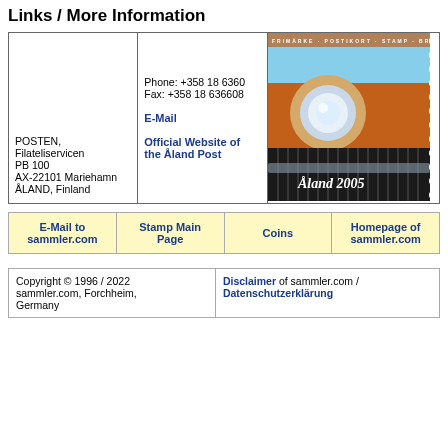Links / More Information
| Address | Contact | Image |
| --- | --- | --- |
| POSTEN, Filateliservicen PB 100 AX-22101 Mariehamn ÅLAND, Finland | Phone: +358 18 6360
Fax: +358 18 636608
E-Mail
Official Website of the Åland Post | [stamp image - Åland 2005] |
| E-Mail to sammler.com | Stamp Main Page | Coins | Homepage of sammler.com |
| --- | --- | --- | --- |
| Copyright | Disclaimer |
| --- | --- |
| Copyright © 1996 / 2022 sammler.com, Forchheim, Germany | Disclaimer of sammler.com / Datenschutzerklärung |